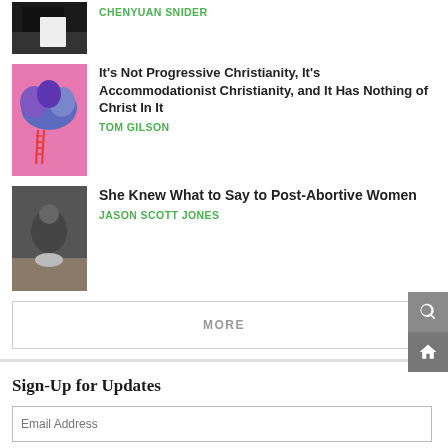[Figure (photo): Partial view of a person holding a white object, top cropped]
CHENYUAN SNIDER
[Figure (photo): Pink background with blue cloud-like brain and a small red ladder leaning against it]
It's Not Progressive Christianity, It's Accommodationist Christianity, and It Has Nothing of Christ In It
TOM GILSON
[Figure (photo): Person with hands clasped, sitting at a table, head bowed]
She Knew What to Say to Post-Abortive Women
JASON SCOTT JONES
MORE
Sign-Up for Updates
Email Address